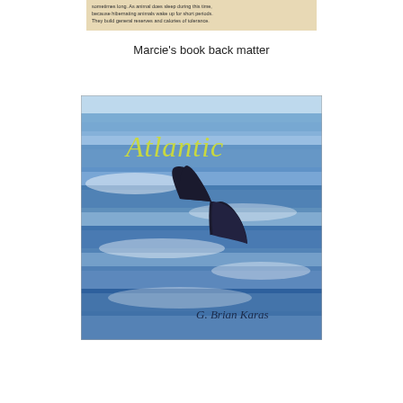[Figure (photo): Partial view of a book page with text, cropped at top]
Marcie's book back matter
[Figure (illustration): Book cover of 'Atlantic' by G. Brian Karas, showing a whale tail above blue watercolor ocean waves, with the title 'Atlantic' in yellow-green handwritten font and the author name 'G. Brian Karas' at the bottom right.]